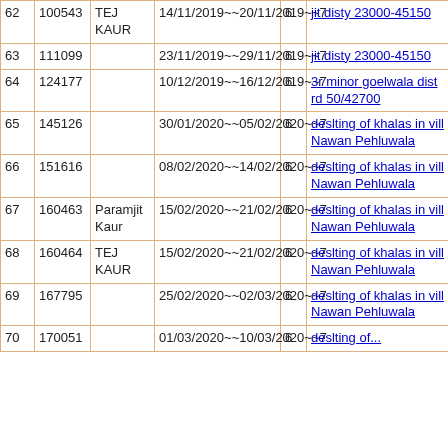| # | ID | Name | Date Range | Days | Description |
| --- | --- | --- | --- | --- | --- |
| 62 | 100543 | TEJ KAUR | 14/11/2019~~20/11/2019~~7 | 6 | jit disty 23000-45150 |
| 63 | 111099 |  | 23/11/2019~~29/11/2019~~7 | 6 | jit disty 23000-45150 |
| 64 | 124177 |  | 10/12/2019~~16/12/2019~~7 | 6 | 3r minor goelwala dist rd 50/42700 |
| 65 | 145126 |  | 30/01/2020~~05/02/2020~~7 | 6 | deslting of khalas in vill Nawan Pehluwala |
| 66 | 151616 |  | 08/02/2020~~14/02/2020~~7 | 6 | deslting of khalas in vill Nawan Pehluwala |
| 67 | 160463 | Paramjit Kaur | 15/02/2020~~21/02/2020~~7 | 6 | deslting of khalas in vill Nawan Pehluwala |
| 68 | 160464 | TEJ KAUR | 15/02/2020~~21/02/2020~~7 | 6 | deslting of khalas in vill Nawan Pehluwala |
| 69 | 167795 |  | 25/02/2020~~02/03/2020~~7 | 6 | deslting of khalas in vill Nawan Pehluwala |
| 70 | 170051 |  | 01/03/2020~~10/03/2020~~7 | 6 | deslting of... |